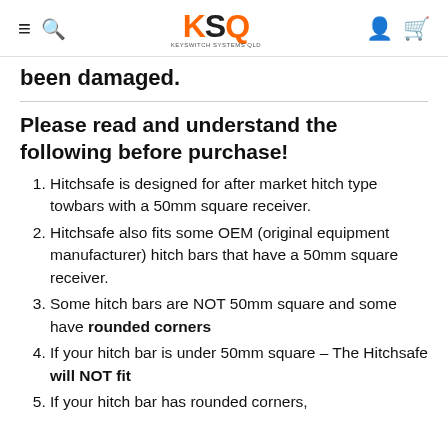KSQ - KEYSWITCH SYSTEMS QLD
been damaged.
Please read and understand the following before purchase!
Hitchsafe is designed for after market hitch type towbars with a 50mm square receiver.
Hitchsafe also fits some OEM (original equipment manufacturer) hitch bars that have a 50mm square receiver.
Some hitch bars are NOT 50mm square and some have rounded corners
If your hitch bar is under 50mm square – The Hitchsafe will NOT fit
If your hitch bar has rounded corners,